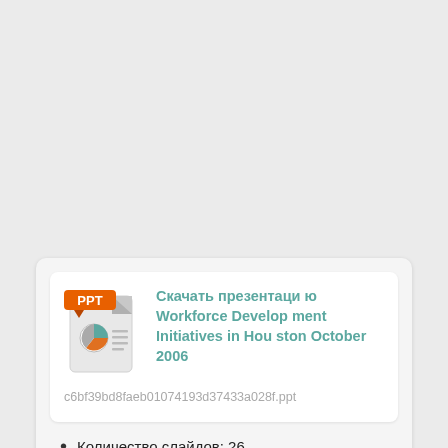[Figure (screenshot): A file download card showing a PPT icon with orange label 'PPT', document thumbnail, and a link text in teal: 'Скачать презентацию Workforce Development Initiatives in Houston October 2006', followed by a file hash filename and a bullet point 'Количество слайдов: 26']
Скачать презентацию Workforce Development Initiatives in Houston October 2006
c6bf39bd8faeb01074193d37433a028f.ppt
Количество слайдов: 26